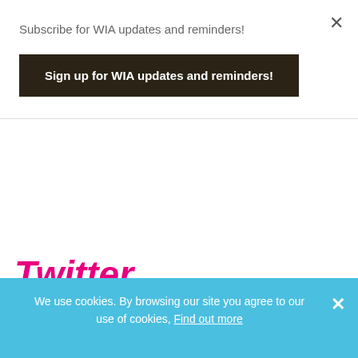Subscribe for WIA updates and reminders!
Sign up for WIA updates and reminders!
Twitter
We use cookies. By browsing our site you agree to our use of cookies, Find out more